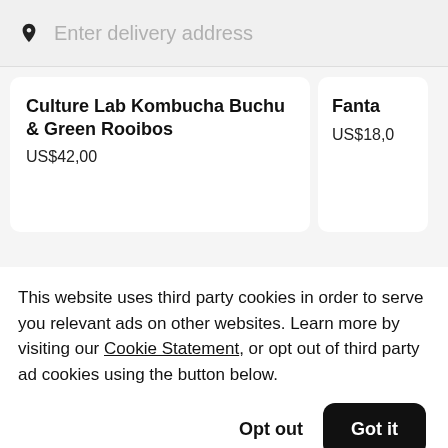Enter delivery address
Culture Lab Kombucha Buchu & Green Rooibos
US$42,00
Fanta
US$18,0
This website uses third party cookies in order to serve you relevant ads on other websites. Learn more by visiting our Cookie Statement, or opt out of third party ad cookies using the button below.
Opt out
Got it